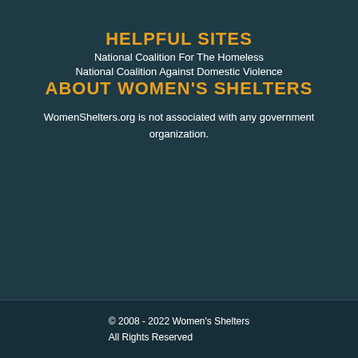HELPFUL SITES
National Coalition For The Homeless
National Coalition Against Domestic Violence
ABOUT WOMEN'S SHELTERS
WomenShelters.org is not associated with any government organization.
© 2008 - 2022 Women's Shelters All Rights Reserved